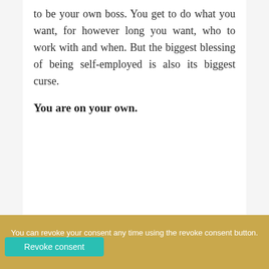to be your own boss. You get to do what you want, for however long you want, who to work with and when. But the biggest blessing of being self-employed is also its biggest curse.
You are on your own.
You can revoke your consent any time using the revoke consent button. [Revoke consent]